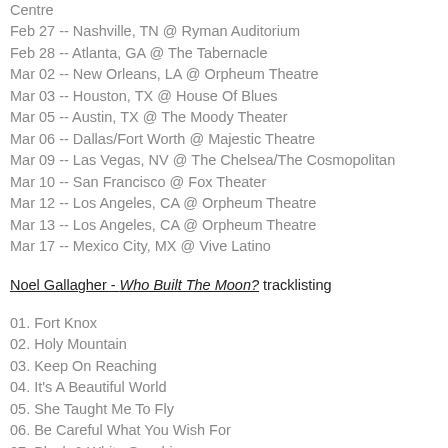Centre
Feb 27 -- Nashville, TN @ Ryman Auditorium
Feb 28 -- Atlanta, GA @ The Tabernacle
Mar 02 -- New Orleans, LA @ Orpheum Theatre
Mar 03 -- Houston, TX @ House Of Blues
Mar 05 -- Austin, TX @ The Moody Theater
Mar 06 -- Dallas/Fort Worth @ Majestic Theatre
Mar 09 -- Las Vegas, NV @ The Chelsea/The Cosmopolitan
Mar 10 -- San Francisco @ Fox Theater
Mar 12 -- Los Angeles, CA @ Orpheum Theatre
Mar 13 -- Los Angeles, CA @ Orpheum Theatre
Mar 17 -- Mexico City, MX @ Vive Latino
Noel Gallagher - Who Built The Moon? tracklisting
01. Fort Knox
02. Holy Mountain
03. Keep On Reaching
04. It's A Beautiful World
05. She Taught Me To Fly
06. Be Careful What You Wish For
07. Black & White Sunshine